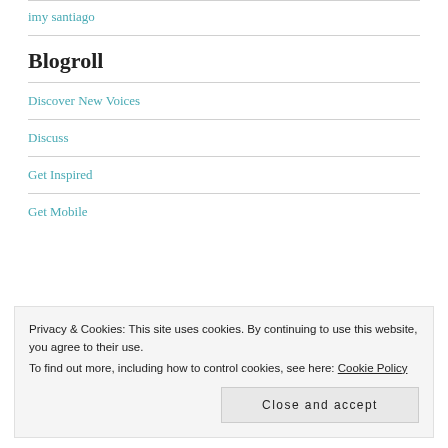imy santiago
Blogroll
Discover New Voices
Discuss
Get Inspired
Get Mobile
Privacy & Cookies: This site uses cookies. By continuing to use this website, you agree to their use.
To find out more, including how to control cookies, see here: Cookie Policy
Close and accept